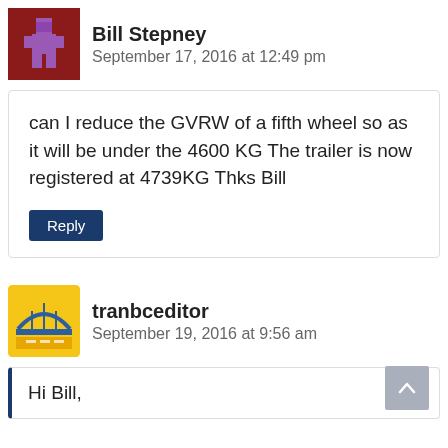[Figure (illustration): Pixel art avatar of a person, dark red background with purple pixel figure]
Bill Stepney
September 17, 2016 at 12:49 pm
can I reduce the GVRW of a fifth wheel so as it will be under the 4600 KG The trailer is now registered at 4739KG Thks Bill
Reply
[Figure (logo): tranbceditor logo: yellow square with road/bridge graphic in blue and yellow tones]
tranbceditor
September 19, 2016 at 9:56 am
Hi Bill,